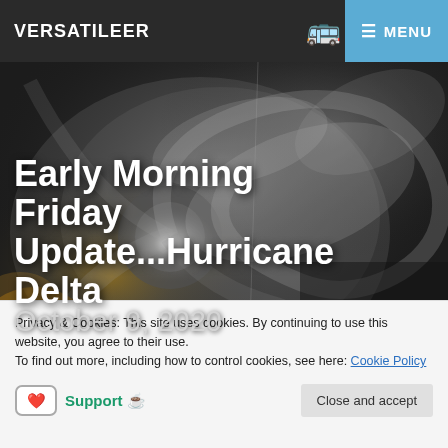VERSATILEER
[Figure (photo): Satellite image of Hurricane Delta showing swirling cloud formations from space, black and white with some color in the lower-left corner showing land/city lights]
Early Morning Friday Update...Hurricane Delta
October 9, 2020
Privacy & Cookies: This site uses cookies. By continuing to use this website, you agree to their use.
To find out more, including how to control cookies, see here: Cookie Policy
Support ☕
Close and accept